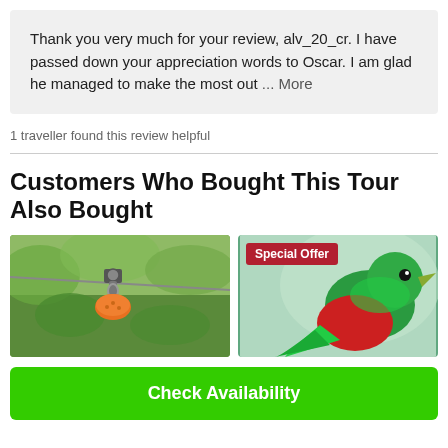Thank you very much for your review, alv_20_cr. I have passed down your appreciation words to Oscar. I am glad he managed to make the most out ... More
1 traveller found this review helpful
Customers Who Bought This Tour Also Bought
[Figure (photo): Photo of zipline cable and pulley mechanism with orange helmet visible, green foliage in background]
[Figure (photo): Photo of a colorful bird (quetzal) with green and red plumage, with a red Special Offer badge overlay in top left]
Check Availability